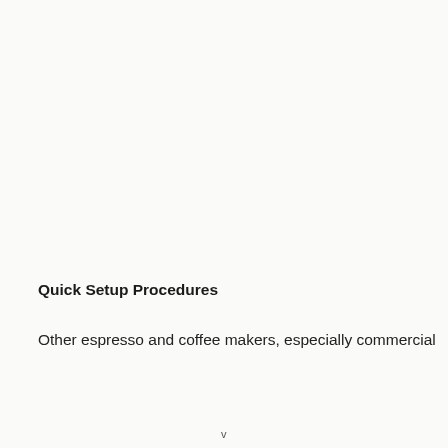Quick Setup Procedures
Other espresso and coffee makers, especially commercial
v